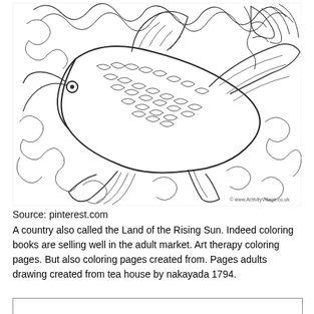[Figure (illustration): A detailed black-and-white coloring page illustration of a koi fish with decorative swirling waves and floral/cloud motifs in the background. Watermark text reads '© www.ActivityVillage.co.uk' in the bottom-right corner of the image.]
Source: pinterest.com
A country also called the Land of the Rising Sun. Indeed coloring books are selling well in the adult market. Art therapy coloring pages. But also coloring pages created from. Pages adults drawing created from tea house by nakayada 1794.